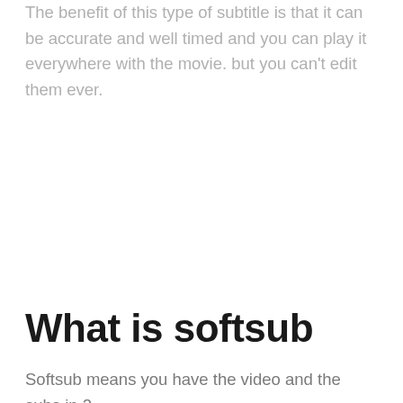The benefit of this type of subtitle is that it can be accurate and well timed and you can play it everywhere with the movie. but you can't edit them ever.
What is softsub
Softsub means you have the video and the subs in 2